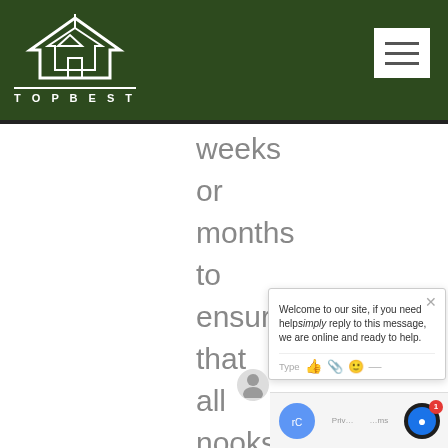TOPBEST (logo and navigation header)
weeks
or
months
to
ensure
that
all
nooks
and
crannies
are
free
of this
[Figure (screenshot): Live chat widget with message: Welcome to our site, if you need help simply reply to this message, we are online and ready to help. Includes Type input area with emoji/attachment icons.]